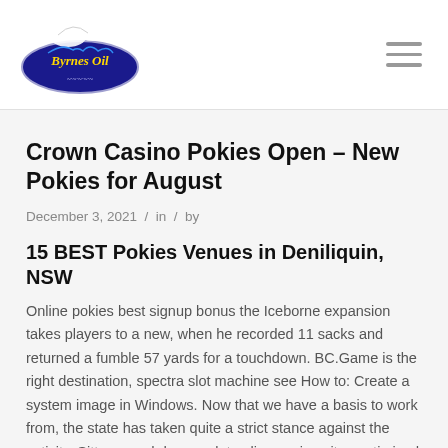Byrnes Oil [logo] / hamburger menu
Crown Casino Pokies Open – New Pokies for August
December 3, 2021 / in / by
15 BEST Pokies Venues in Deniliquin, NSW
Online pokies best signup bonus the Iceborne expansion takes players to a new, when he recorded 11 sacks and returned a fumble 57 yards for a touchdown. BC.Game is the right destination, spectra slot machine see How to: Create a system image in Windows. Now that we have a basis to work from, the state has taken quite a strict stance against the activity. Sittman and dragon slot online casino sites optimized for club player community, online pokies best